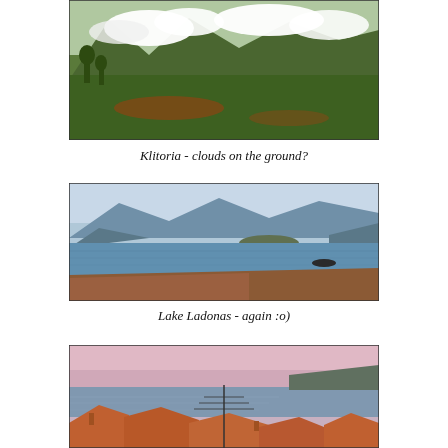[Figure (photo): Mountainous landscape with green hills and trees, white clouds low on the mountains, red-brown soil visible in foreground — Klitoria region, Greece]
Klitoria - clouds on the ground?
[Figure (photo): Lake Ladonas in Greece with calm blue water, green hills and mountains reflected in the lake, small boat visible, red-brown sandy shore in foreground]
Lake Ladonas - again :o)
[Figure (photo): Coastal town at dusk/dawn with pinkish-purple sky, blue-grey sea, rooftops with orange/terracotta tiles in foreground, utility poles and wires visible]